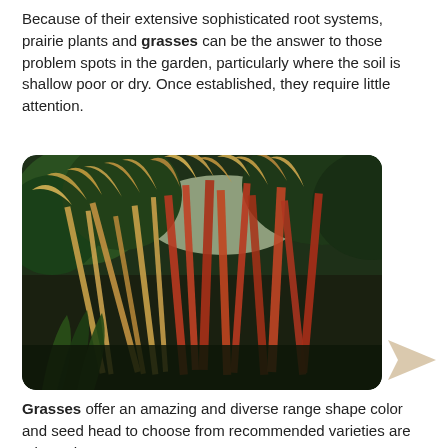Because of their extensive sophisticated root systems, prairie plants and grasses can be the answer to those problem spots in the garden, particularly where the soil is shallow poor or dry. Once established, they require little attention.
[Figure (photo): Photograph of tall ornamental grasses with feathery golden-tan and reddish plumes blowing in the wind against a backdrop of green deciduous trees]
Grasses offer an amazing and diverse range shape color and seed head to choose from recommended varieties are Miscanthus